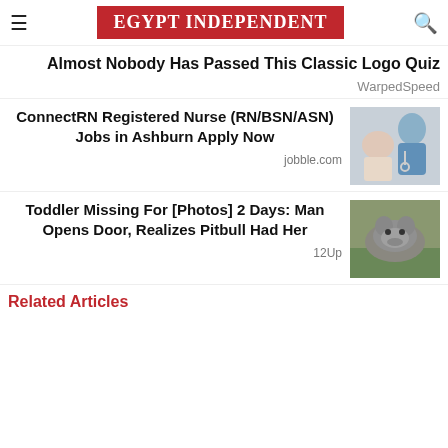EGYPT INDEPENDENT
Almost Nobody Has Passed This Classic Logo Quiz
WarpedSpeed
ConnectRN Registered Nurse (RN/BSN/ASN) Jobs in Ashburn Apply Now
jobble.com
[Figure (photo): Nurse with patient - a smiling nurse in blue scrubs with a stethoscope attending to an elderly patient]
Toddler Missing For [Photos] 2 Days: Man Opens Door, Realizes Pitbull Had Her
12Up
[Figure (photo): A pitbull dog standing on grass]
Related Articles